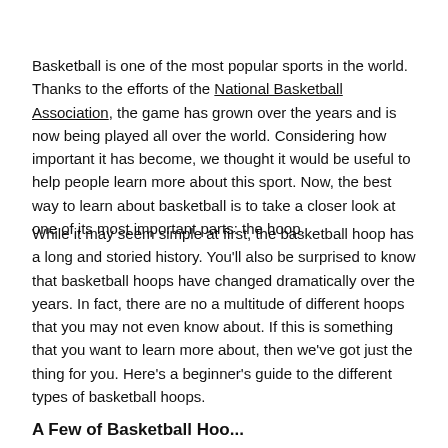Basketball is one of the most popular sports in the world. Thanks to the efforts of the National Basketball Association, the game has grown over the years and is now being played all over the world. Considering how important it has become, we thought it would be useful to help people learn more about this sport. Now, the best way to learn about basketball is to take a closer look at one of its most important parts: the hoop.
While it may seem simple at first, the basketball hoop has a long and storied history. You'll also be surprised to know that basketball hoops have changed dramatically over the years. In fact, there are no a multitude of different hoops that you may not even know about. If this is something that you want to learn more about, then we've got just the thing for you. Here's a beginner's guide to the different types of basketball hoops.
A Few of Basketball Hoo...